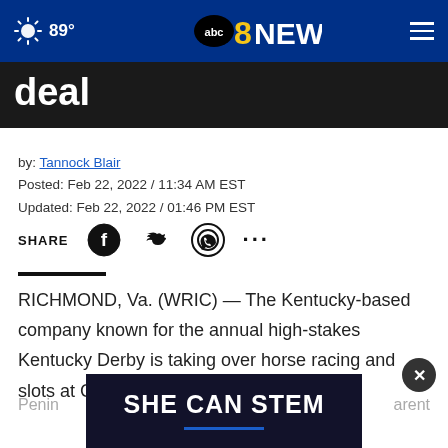89° abc 8 NEWS
deal
by: Tannock Blair
Posted: Feb 22, 2022 / 11:34 AM EST
Updated: Feb 22, 2022 / 01:46 PM EST
SHARE
RICHMOND, Va. (WRIC) — The Kentucky-based company known for the annual high-stakes Kentucky Derby is taking over horse racing and slots at Colonial Downs and Rosie's.
Penin... ...arent
[Figure (screenshot): Advertisement overlay with text SHE CAN STEM on dark background with blue underline]